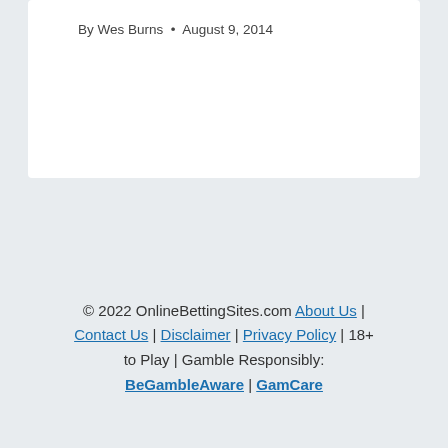By Wes Burns • August 9, 2014
© 2022 OnlineBettingSites.com | About Us | Contact Us | Disclaimer | Privacy Policy | 18+ to Play | Gamble Responsibly: BeGambleAware | GamCare